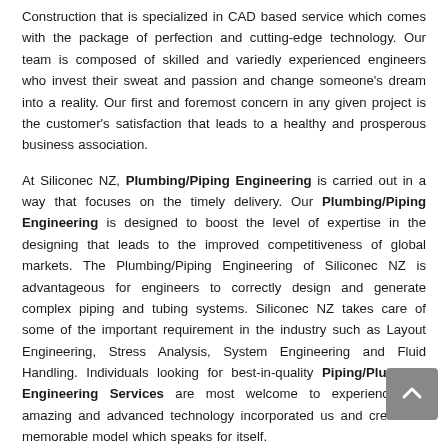Construction that is specialized in CAD based service which comes with the package of perfection and cutting-edge technology. Our team is composed of skilled and variedly experienced engineers who invest their sweat and passion and change someone's dream into a reality. Our first and foremost concern in any given project is the customer's satisfaction that leads to a healthy and prosperous business association.
At Siliconec NZ, Plumbing/Piping Engineering is carried out in a way that focuses on the timely delivery. Our Plumbing/Piping Engineering is designed to boost the level of expertise in the designing that leads to the improved competitiveness of global markets. The Plumbing/Piping Engineering of Siliconec NZ is advantageous for engineers to correctly design and generate complex piping and tubing systems. Siliconec NZ takes care of some of the important requirement in the industry such as Layout Engineering, Stress Analysis, System Engineering and Fluid Handling. Individuals looking for best-in-quality Piping/Plumbing Engineering Services are most welcome to experience the amazing and advanced technology incorporated us and creates a memorable model which speaks for itself.